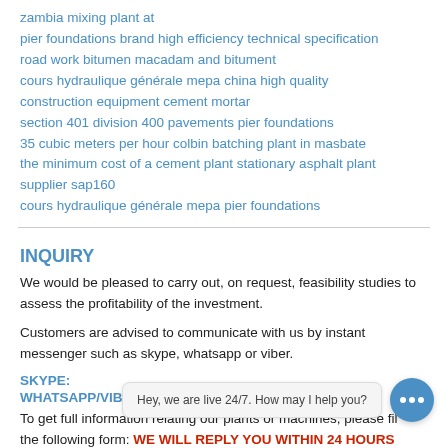zambia mixing plant at
pier foundations brand high efficiency technical specification
road work bitumen macadam and bitument
cours hydraulique générale mepa china high quality
construction equipment cement mortar
section 401 division 400 pavements pier foundations
35 cubic meters per hour colbin batching plant in masbate
the minimum cost of a cement plant stationary asphalt plant supplier sap160
cours hydraulique générale mepa pier foundations
INQUIRY
We would be pleased to carry out, on request, feasibility studies to assess the profitability of the investment.
Customers are advised to communicate with us by instant messenger such as skype, whatsapp or viber.
SKYPE:
WHATSAPP/VIBER:
To get full information relating our plants or machines, please fill the following form: WE WILL REPLY YOU WITHIN 24 HOURS